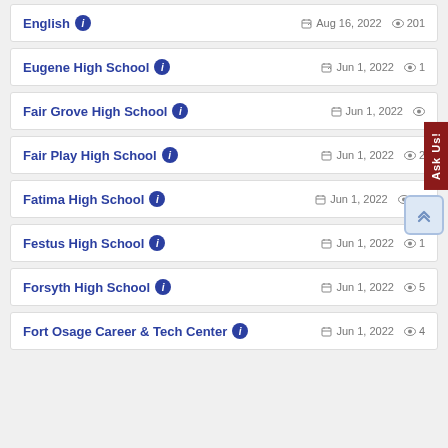English — Aug 16, 2022 — 201 views
Eugene High School — Jun 1, 2022 — 1 view
Fair Grove High School — Jun 1, 2022
Fair Play High School — Jun 1, 2022 — 2 views
Fatima High School — Jun 1, 2022 — 11 views
Festus High School — Jun 1, 2022 — 1 view
Forsyth High School — Jun 1, 2022 — 5 views
Fort Osage Career & Tech Center — Jun 1, 2022 — 4 views